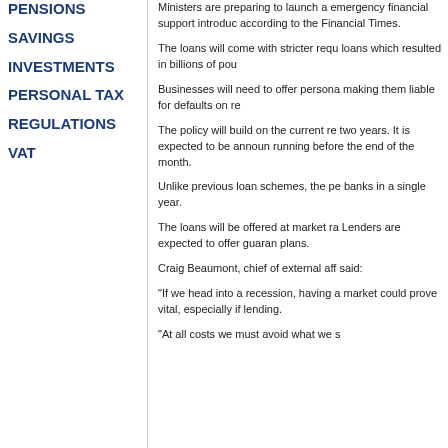PENSIONS
SAVINGS
INVESTMENTS
PERSONAL TAX
REGULATIONS
VAT
Ministers are preparing to launch a emergency financial support introduc according to the Financial Times.
The loans will come with stricter requ loans which resulted in billions of pou
Businesses will need to offer persona making them liable for defaults on re
The policy will build on the current re two years. It is expected to be announ running before the end of the month.
Unlike previous loan schemes, the p banks in a single year.
The loans will be offered at market ra Lenders are expected to offer guaran plans.
Craig Beaumont, chief of external aff said:
"If we head into a recession, having a market could prove vital, especially if lending.
"At all costs we must avoid what we s